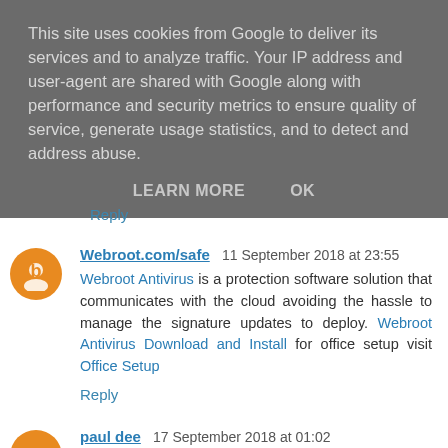This site uses cookies from Google to deliver its services and to analyze traffic. Your IP address and user-agent are shared with Google along with performance and security metrics to ensure quality of service, generate usage statistics, and to detect and address abuse.
LEARN MORE   OK
Reply
Webroot.com/safe  11 September 2018 at 23:55
Webroot Antivirus is a protection software solution that communicates with the cloud avoiding the hassle to manage the signature updates to deploy. Webroot Antivirus Download and Install for office setup visit Office Setup
Reply
paul dee  17 September 2018 at 01:02
Get our help for your coursework writing with Best...